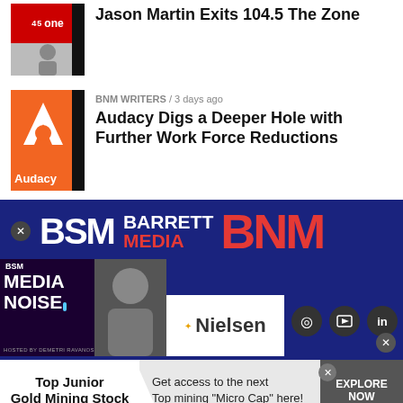Jason Martin Exits 104.5 The Zone
BNM WRITERS / 3 days ago
Audacy Digs a Deeper Hole with Further Work Force Reductions
[Figure (logo): Barrett Media BSM and BNM logo on dark blue background with Media Noise podcast panel, Nielsen logo, and social media icons]
Top Junior Gold Mining Stock
Get access to the next Top mining "Micro Cap" here!
EXPLORE NOW